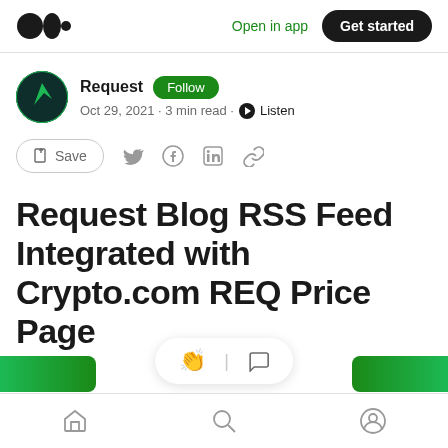Medium — Open in app · Get started
Request · Follow · Oct 29, 2021 · 3 min read · Listen
Save
Request Blog RSS Feed Integrated with Crypto.com REQ Price Page
Home · Search · Profile